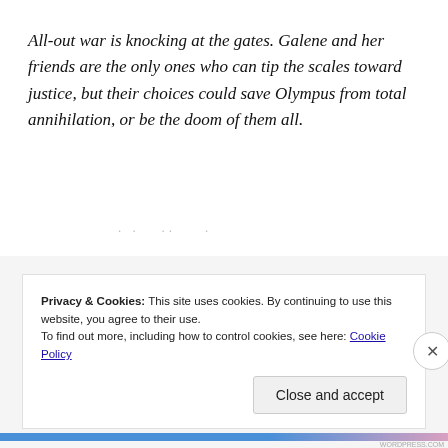All-out war is knocking at the gates. Galene and her friends are the only ones who can tip the scales toward justice, but their choices could save Olympus from total annihilation, or be the doom of them all.
. .  ..   .
So that's where I'm at! Thanks for stopping by, and please come back again soon. x
Privacy & Cookies: This site uses cookies. By continuing to use this website, you agree to their use. To find out more, including how to control cookies, see here: Cookie Policy
Close and accept